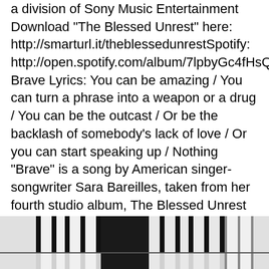a division of Sony Music Entertainment Download "The Blessed Unrest" here: http://smarturl.it/theblessedunrestSpotify: http://open.spotify.com/album/7lpbyGc4fHsQkBTsfWVBhphttps://www.facebook.com/ Brave Lyrics: You can be amazing / You can turn a phrase into a weapon or a drug / You can be the outcast / Or be the backlash of somebody's lack of love / Or you can start speaking up / Nothing "Brave" is a song by American singer-songwriter Sara Bareilles, taken from her fourth studio album, The Blessed Unrest (2013). The song was written by Bareilles and Jack Antonoff from the band fun., as the singer was inspired from the struggles that a close friend dealt with in regard to coming out as gay.
[Figure (photo): Partial black and white photo visible at the bottom of the page, appears to be a keyboard or piano keys.]